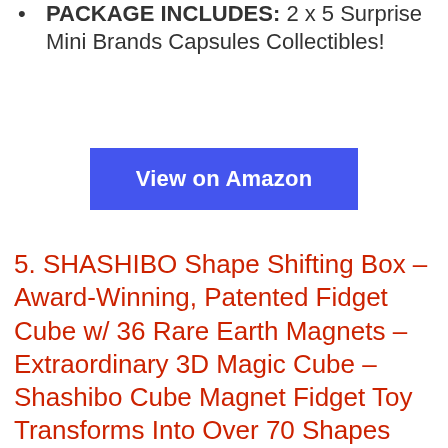PACKAGE INCLUDES: 2 x 5 Surprise Mini Brands Capsules Collectibles!
View on Amazon
5. SHASHIBO Shape Shifting Box – Award-Winning, Patented Fidget Cube w/ 36 Rare Earth Magnets – Extraordinary 3D Magic Cube – Shashibo Cube Magnet Fidget Toy Transforms Into Over 70 Shapes (Wings)